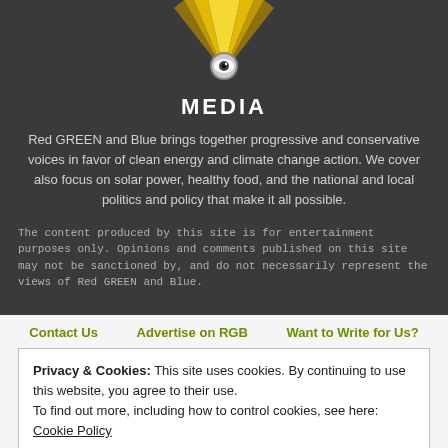[Figure (logo): Red Green and Blue Media logo: golden/yellow rays emanating from top, with an eye icon and MEDIA text below]
Red GREEN and Blue brings together progressive and conservative voices in favor of clean energy and climate change action. We cover also focus on solar power, healthy food, and the national and local politics and policy that make it all possible.
The content produced by this site is for entertainment purposes only. Opinions and comments published on this site may not be sanctioned by, and do not necessarily represent the views of Red GREEN and Blue.
Contact Us   Advertise on RGB   Want to Write for Us?
Privacy & Cookies: This site uses cookies. By continuing to use this website, you agree to their use.
To find out more, including how to control cookies, see here: Cookie Policy
Close and accept